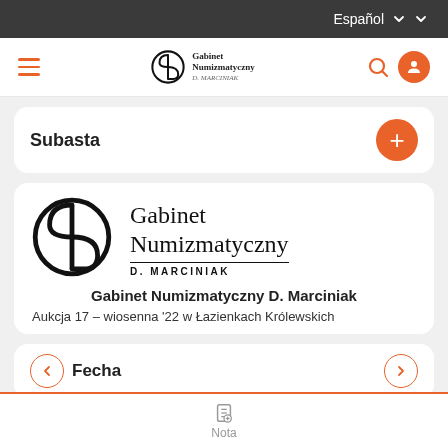Español
[Figure (logo): Gabinet Numizmatyczny D. Marciniak logo with hamburger menu, search and user icons]
Subasta
[Figure (logo): Gabinet Numizmatyczny D. Marciniak circular logo with large text]
Gabinet Numizmatyczny D. Marciniak
Aukcja 17 – wiosenna '22 w Łazienkach Królewskich
Fecha
02 Junio 2022
Nota